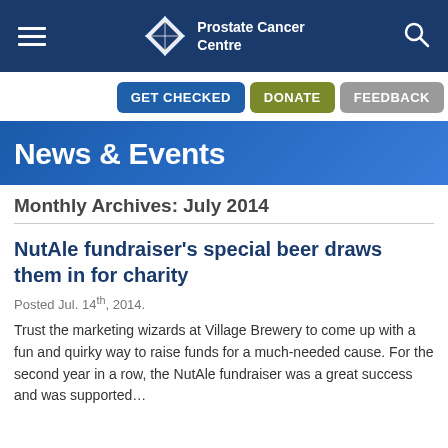Prostate Cancer Centre
GET CHECKED   DONATE   FEEDBACK
News & Events
Monthly Archives: July 2014
NutAle fundraiser's special beer draws them in for charity
Posted Jul. 14th, 2014.
Trust the marketing wizards at Village Brewery to come up with a fun and quirky way to raise funds for a much-needed cause. For the second year in a row, the NutAle fundraiser was a great success and was supported…